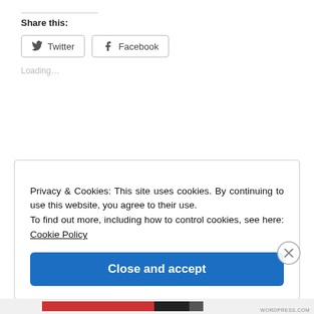Share this:
Twitter
Facebook
Loading…
Privacy & Cookies: This site uses cookies. By continuing to use this website, you agree to their use.
To find out more, including how to control cookies, see here: Cookie Policy
Close and accept